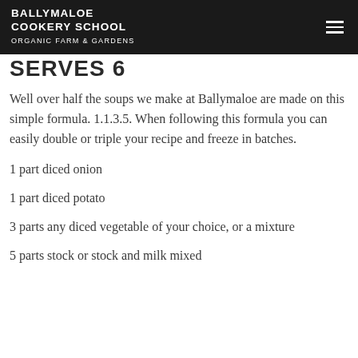BALLYMALOE COOKERY SCHOOL ORGANIC FARM & GARDENS
SERVES 6
Well over half the soups we make at Ballymaloe are made on this simple formula. 1.1.3.5. When following this formula you can easily double or triple your recipe and freeze in batches.
1 part diced onion
1 part diced potato
3 parts any diced vegetable of your choice, or a mixture
5 parts stock or stock and milk mixed